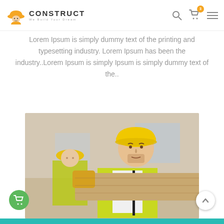[Figure (logo): Construct logo with construction worker helmet icon in yellow/orange and text 'CONSTRUCT We Build Your Dream']
Lorem Ipsum is simply dummy text of the printing and typesetting industry. Lorem Ipsum has been the industry..Lorem Ipsum is simply Ipsum is simply dummy text of the..
[Figure (photo): Two construction workers in yellow hard hats and safety vests, the foreground worker carrying wooden planks at a construction site]